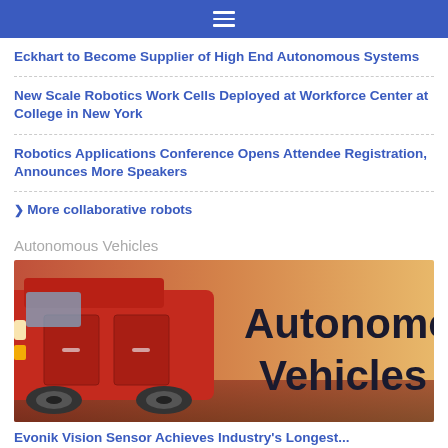≡
Eckhart to Become Supplier of High End Autonomous Systems
New Scale Robotics Work Cells Deployed at Workforce Center at College in New York
Robotics Applications Conference Opens Attendee Registration, Announces More Speakers
More collaborative robots
Autonomous Vehicles
[Figure (photo): Red autonomous vehicle / shuttle bus with overlaid text reading 'Autonomous Vehicles' in large dark bold font against an orange/sunset background]
Evonik Vision Sensor Achieves Industry's Longest...